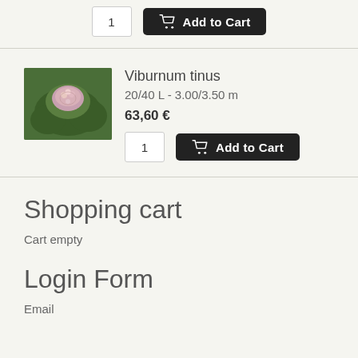[Figure (other): Quantity input box showing '1' and a dark 'Add to Cart' button with cart icon, at the top of the page]
[Figure (photo): Product listing for Viburnum tinus: plant photo on left, product name, size 20/40 L - 3.00/3.50 m, price 63,60 €, quantity input '1' and Add to Cart button]
Shopping cart
Cart empty
Login Form
Email